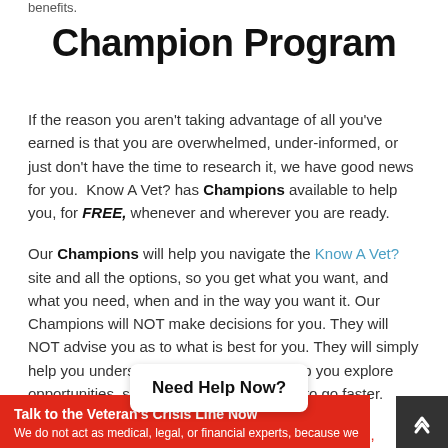benefits.
Champion Program
If the reason you aren't taking advantage of all you've earned is that you are overwhelmed, under-informed, or just don't have the time to research it, we have good news for you. Know A Vet? has Champions available to help you, for FREE, whenever and wherever you are ready.
Our Champions will help you navigate the Know A Vet? site and all the options, so you get what you want, and what you need, when and in the way you want it. Our Champions will NOT make decisions for you. They will NOT advise you as to what is best for you. They will simply help you understand your options and help you explore opportunities, so you get where you want to go faster. We do not act as medical, legal, or financial experts, because we
Need Help Now?
Talk to the Veteran's Crisis Line Now
We do not act as medical, legal, or financial experts, because we